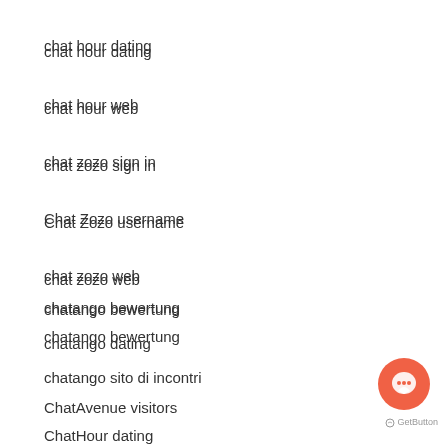chat hour dating
chat hour web
chat zozo sign in
Chat Zozo username
chat zozo web
chatango bewertung
chatango dating
chatango sito di incontri
ChatAvenue visitors
ChatHour dating
chatib pc
Chatib username
chatib bewertung